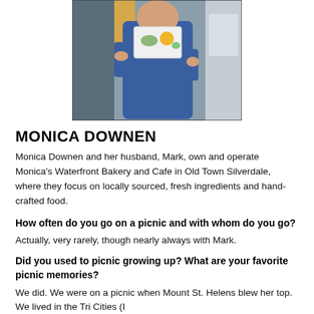[Figure (photo): Person in blue apron holding a white plate with food, standing in a kitchen environment]
MONICA DOWNEN
Monica Downen and her husband, Mark, own and operate Monica's Waterfront Bakery and Cafe in Old Town Silverdale, where they focus on locally sourced, fresh ingredients and hand-crafted food.
How often do you go on a picnic and with whom do you go?
Actually, very rarely, though nearly always with Mark.
Did you used to picnic growing up? What are your favorite picnic memories?
We did. We were on a picnic when Mount St. Helens blew her top. We lived in the Tri Cities (I